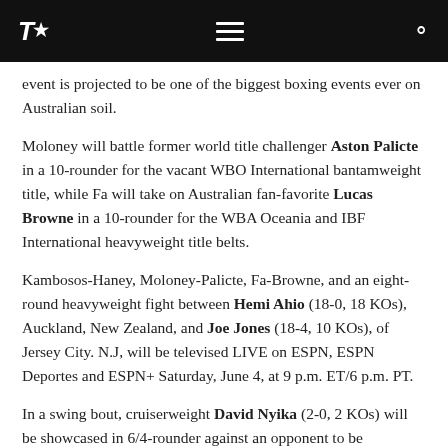TR [logo] [hamburger menu] [search]
event is projected to be one of the biggest boxing events ever on Australian soil.
Moloney will battle former world title challenger Aston Palicte in a 10-rounder for the vacant WBO International bantamweight title, while Fa will take on Australian fan-favorite Lucas Browne in a 10-rounder for the WBA Oceania and IBF International heavyweight title belts.
Kambosos-Haney, Moloney-Palicte, Fa-Browne, and an eight-round heavyweight fight between Hemi Ahio (18-0, 18 KOs), Auckland, New Zealand, and Joe Jones (18-4, 10 KOs), of Jersey City. N.J, will be televised LIVE on ESPN, ESPN Deportes and ESPN+ Saturday, June 4, at 9 p.m. ET/6 p.m. PT.
In a swing bout, cruiserweight David Nyika (2-0, 2 KOs) will be showcased in 6/4-rounder against an opponent to be